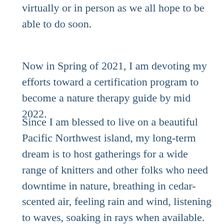virtually or in person as we all hope to be able to do soon.
Now in Spring of 2021, I am devoting my efforts toward a certification program to become a nature therapy guide by mid 2022.
Since I am blessed to live on a beautiful Pacific Northwest island, my long-term dream is to host gatherings for a wide range of knitters and other folks who need downtime in nature, breathing in cedar-scented air, feeling rain and wind, listening to waves, soaking in rays when available. We will have time to wander through wooded trails and allow our imagination room to create while sharing roots of our craft.